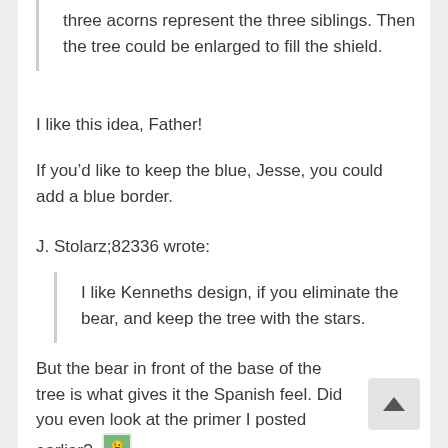three acorns represent the three siblings. Then the tree could be enlarged to fill the shield.
I like this idea, Father!
If you'd like to keep the blue, Jesse, you could add a blue border.
J. Stolarz;82336 wrote:
I like Kenneths design, if you eliminate the bear, and keep the tree with the stars.
But the bear in front of the base of the tree is what gives it the Spanish feel. Did you even look at the primer I posted earlier? [wink]